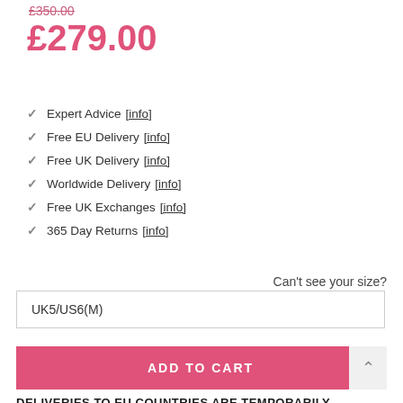£350.00 (strikethrough)
£279.00
Expert Advice [info]
Free EU Delivery [info]
Free UK Delivery [info]
Worldwide Delivery [info]
Free UK Exchanges [info]
365 Day Returns [info]
Can't see your size?
UK5/US6(M)
ADD TO CART
DELIVERIES TO EU COUNTRIES ARE TEMPORARILY